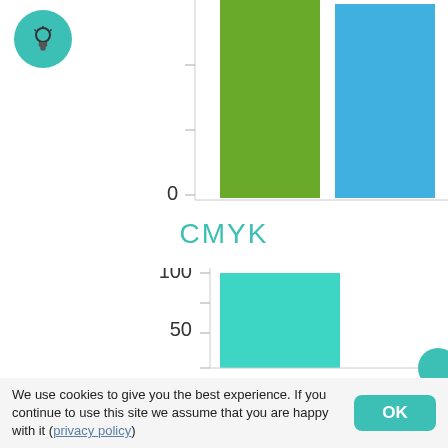[Figure (bar-chart): Partial bar chart showing two bars — green and blue — at top of page. Y-axis shows value 0 at bottom of visible area.]
CMYK
[Figure (bar-chart): CMYK]
We use cookies to give you the best experience. If you continue to use this site we assume that you are happy with it (privacy policy)